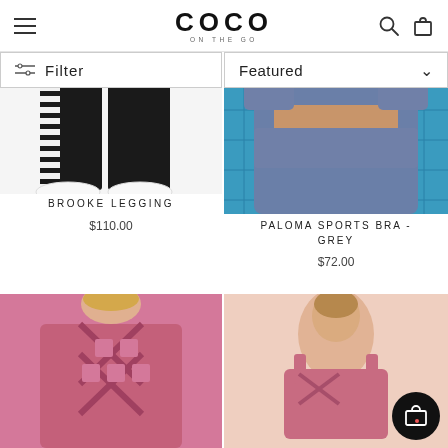COCO ON THE GO — navigation header with hamburger menu, logo, search and cart icons
Filter
Featured
[Figure (photo): Black leggings with striped side panel and white sneakers on white background — Brooke Legging product photo]
BROOKE LEGGING
$110.00
[Figure (photo): Blue/grey sports bra crop top worn by model against blue net background — Paloma Sports Bra Grey product photo]
PALOMA SPORTS BRA - GREY
$72.00
[Figure (photo): Pink sports bra with criss-cross back straps, rear view — bottom left product photo]
[Figure (photo): Pink sports bra front/side view with decorative straps — bottom right product photo]